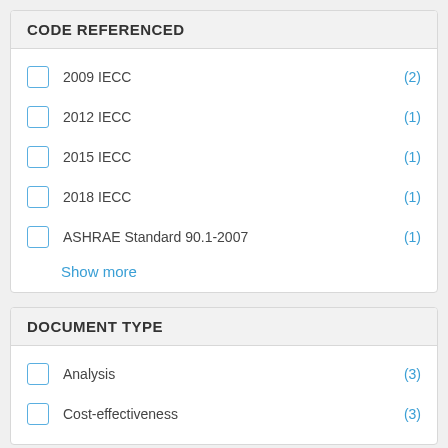CODE REFERENCED
2009 IECC (2)
2012 IECC (1)
2015 IECC (1)
2018 IECC (1)
ASHRAE Standard 90.1-2007 (1)
Show more
DOCUMENT TYPE
Analysis (3)
Cost-effectiveness (3)